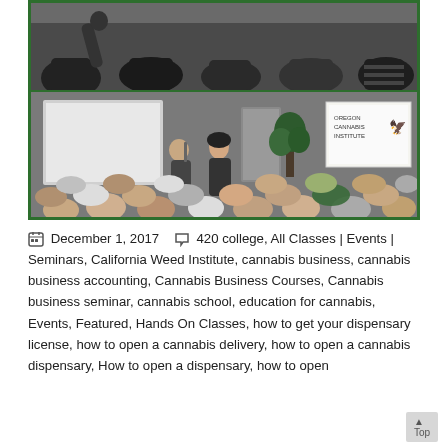[Figure (photo): Two stacked photos showing a classroom/seminar setting with audience members and presenters. Top photo shows audience from behind with a raised hand. Bottom photo shows a speaker at front of room with Oregon Cannabis Institute banner visible and full audience seated.]
📅 December 1, 2017   📁 420 college, All Classes | Events | Seminars, California Weed Institute, cannabis business, cannabis business accounting, Cannabis Business Courses, Cannabis business seminar, cannabis school, education for cannabis, Events, Featured, Hands On Classes, how to get your dispensary license, how to open a cannabis delivery, how to open a cannabis dispensary, How to open a dispensary, how to open